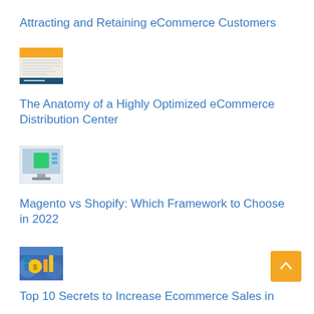Attracting and Retaining eCommerce Customers
[Figure (photo): Thumbnail image of a document titled 'Highly Optimized eCommerce Distribution Center']
The Anatomy of a Highly Optimized eCommerce Distribution Center
[Figure (screenshot): Thumbnail image showing a computer monitor with a green icon]
Magento vs Shopify: Which Framework to Choose in 2022
[Figure (illustration): Thumbnail image with colorful illustration related to ecommerce/money]
Top 10 Secrets to Increase Ecommerce Sales in